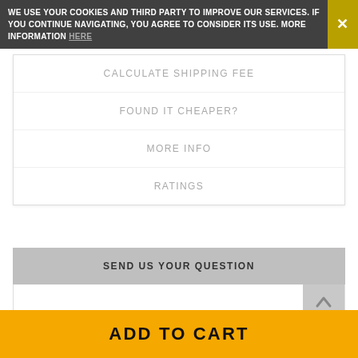WE USE YOUR COOKIES AND THIRD PARTY TO IMPROVE OUR SERVICES. IF YOU CONTINUE NAVIGATING, YOU AGREE TO CONSIDER ITS USE. MORE INFORMATION HERE
CALCULATE SHIPPING FEE
FOUND IT CHEAPER?
MORE INFO
RATINGS
SEND US YOUR QUESTION
ADD TO CART